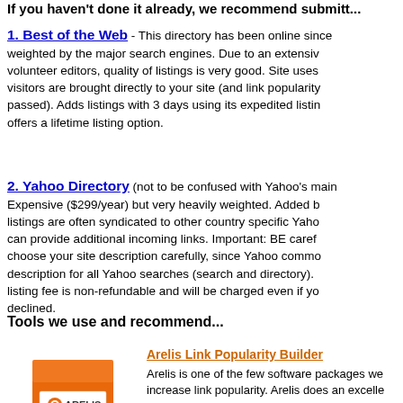If you haven't done it already, we recommend submitt...
1. Best of the Web - This directory has been online since... weighted by the major search engines. Due to an extensiv... volunteer editors, quality of listings is very good. Site uses... visitors are brought directly to your site (and link popularity... passed). Adds listings with 3 days using its expedited listin... offers a lifetime listing option.
2. Yahoo Directory (not to be confused with Yahoo's main... Expensive ($299/year) but very heavily weighted. Added b... listings are often syndicated to other country specific Yaho... can provide additional incoming links. Important: BE caref... choose your site description carefully, since Yahoo commo... description for all Yahoo searches (search and directory).... listing fee is non-refundable and will be charged even if yo... declined.
Tools we use and recommend...
[Figure (photo): Arelis software box product image with orange and white packaging showing 'ARELIS' branding and 'GET MORE LINKS' text]
Arelis Link Popularity Builder
Arelis is one of the few software packages we... increase link popularity. Arelis does an excelle... tracking suitable link prospects, but the feature... built in browser lets you review each web site... link request. The end result is a quality hand-p... is much more likely to succeed. Click here to...